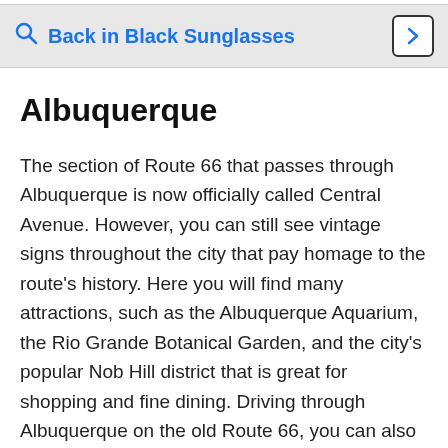[Figure (screenshot): Search bar UI element showing a magnifying glass icon, the text 'Back in Black Sunglasses' in blue bold, and a right-arrow button on a grey background]
Albuquerque
The section of Route 66 that passes through Albuquerque is now officially called Central Avenue. However, you can still see vintage signs throughout the city that pay homage to the route's history. Here you will find many attractions, such as the Albuquerque Aquarium, the Rio Grande Botanical Garden, and the city's popular Nob Hill district that is great for shopping and fine dining. Driving through Albuquerque on the old Route 66, you can also catch site of dormant volcanoes on the west side of the city.